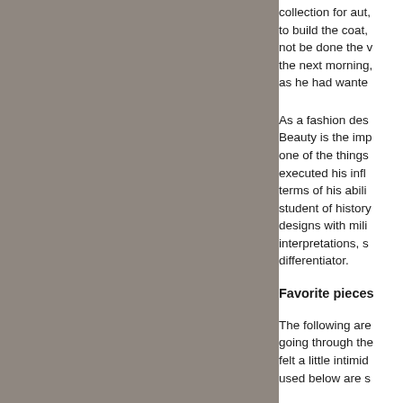[Figure (photo): Large gray/taupe colored image occupying the left portion of the page]
collection for aut, to build the coat, not be done the v the next morning, as he had wante
As a fashion des Beauty is the imp one of the things executed his infl terms of his abili student of history designs with mili interpretations, s differentiator.
Favorite pieces
The following are going through the felt a little intimid used below are s